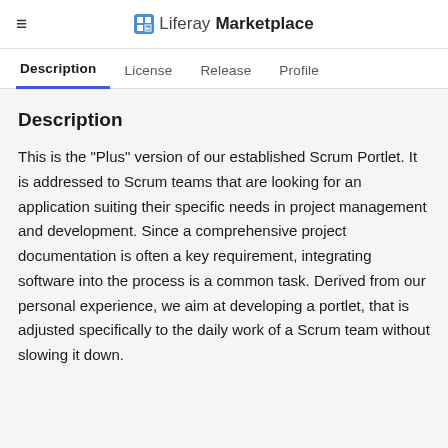Liferay Marketplace
Description | License | Release | Profile
Description
This is the "Plus" version of our established Scrum Portlet. It is addressed to Scrum teams that are looking for an application suiting their specific needs in project management and development. Since a comprehensive project documentation is often a key requirement, integrating software into the process is a common task. Derived from our personal experience, we aim at developing a portlet, that is adjusted specifically to the daily work of a Scrum team without slowing it down.